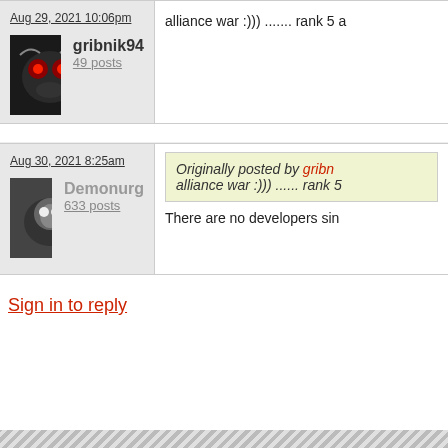Aug 29, 2021 10:06pm
gribnik94
49 posts
alliance war :))) ....... rank 5 a
Aug 30, 2021 8:25am
Demonurg
633 posts
Originally posted by gribn
alliance war :))) ...... rank 5
There are no developers sin
Sign in to reply